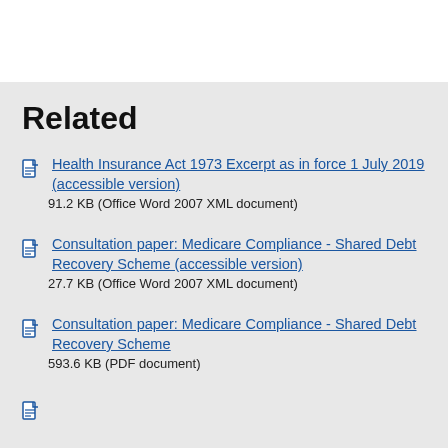Related
Health Insurance Act 1973 Excerpt as in force 1 July 2019 (accessible version)
91.2 KB (Office Word 2007 XML document)
Consultation paper: Medicare Compliance - Shared Debt Recovery Scheme (accessible version)
27.7 KB (Office Word 2007 XML document)
Consultation paper: Medicare Compliance - Shared Debt Recovery Scheme
593.6 KB (PDF document)